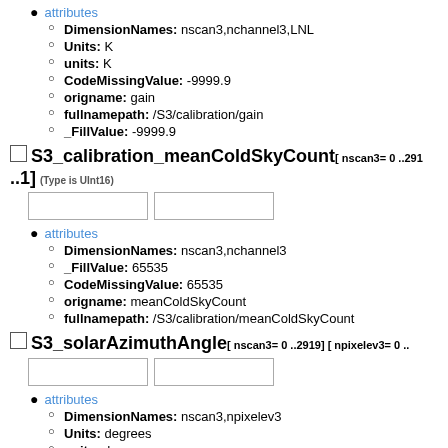attributes
DimensionNames: nscan3,nchannel3,LNL
Units: K
units: K
CodeMissingValue: -9999.9
origname: gain
fullnamepath: /S3/calibration/gain
_FillValue: -9999.9
S3_calibration_meanColdSkyCount[ nscan3= 0 ..291 ..1] (Type is UInt16)
attributes
DimensionNames: nscan3,nchannel3
_FillValue: 65535
CodeMissingValue: 65535
origname: meanColdSkyCount
fullnamepath: /S3/calibration/meanColdSkyCount
S3_solarAzimuthAngle[ nscan3= 0 ..2919] [ npixelev3= 0 ..
attributes
DimensionNames: nscan3,npixelev3
Units: degrees
units: degrees
CodeMissingValue: -9999.9
origname: solarAzimuthAngle
fullnamepath: /S3/solarAzimuthAngle